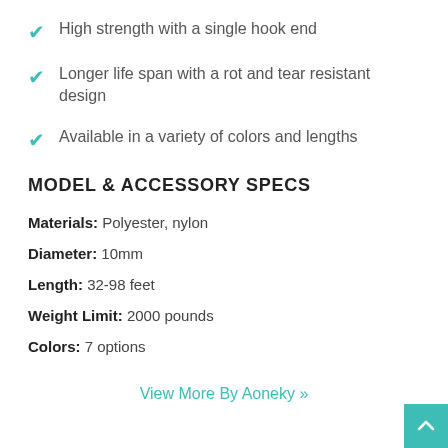High strength with a single hook end
Longer life span with a rot and tear resistant design
Available in a variety of colors and lengths
MODEL & ACCESSORY SPECS
Materials: Polyester, nylon
Diameter: 10mm
Length: 32-98 feet
Weight Limit: 2000 pounds
Colors: 7 options
View More By Aoneky »